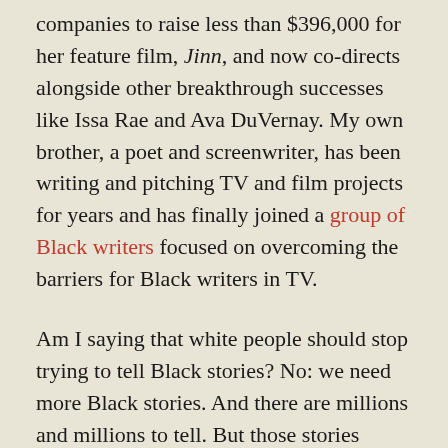companies to raise less than $396,000 for her feature film, Jinn, and now co-directs alongside other breakthrough successes like Issa Rae and Ava DuVernay. My own brother, a poet and screenwriter, has been writing and pitching TV and film projects for years and has finally joined a group of Black writers focused on overcoming the barriers for Black writers in TV.
Am I saying that white people should stop trying to tell Black stories? No: we need more Black stories. And there are millions and millions to tell. But those stories should be well-told, by well-informed people.